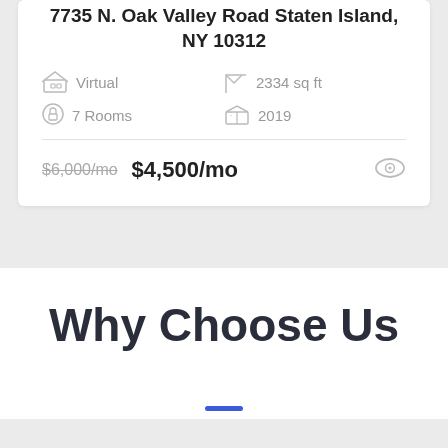7735 N. Oak Valley Road Staten Island, NY 10312
Virtual   2334 sq ft   7 Rooms   2019
$6,000/mo  $4,500/mo
Why Choose Us